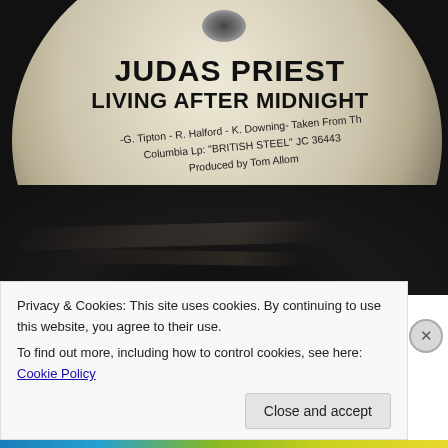[Figure (photo): Close-up photograph of a vinyl record label for Judas Priest 'Living After Midnight'. The cream/off-white label shows artist name, song title, songwriting credits (-G. Tipton - R. Halford - K. Downing), Columbia LP 'BRITISH STEEL' JC 36443, Produced by Tom Allom. The black vinyl is visible at the bottom.]
Privacy & Cookies: This site uses cookies. By continuing to use this website, you agree to their use.
To find out more, including how to control cookies, see here: Cookie Policy
Close and accept